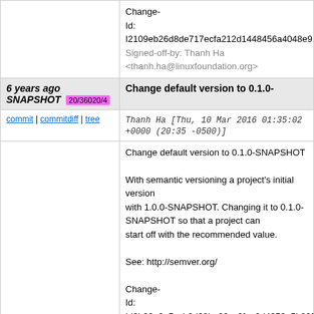Change-Id: I2109eb26d8de717ecfa212d1448456a4048e9...
Signed-off-by: Thanh Ha <thanh.ha@linuxfoundation.org>
6 years ago SNAPSHOT 20/36020/4 — Change default version to 0.1.0-
commit | commitdiff | tree   Thanh Ha [Thu, 10 Mar 2016 01:35:02 +0000 (20:35 -0500)]
Change default version to 0.1.0-SNAPSHOT

With semantic versioning a project's initial version with 1.0.0-SNAPSHOT. Changing it to 0.1.0-SNAPSHOT so that a project can start off with the recommended value.

See: http://semver.org/

Change-Id: Id3b99a9a5ccb2d68be02cc6faa0d4253e5b80f...
Signed-off-by: Thanh Ha <thanh.ha@linuxfoundation.org>
6 years ago 19/36019/4 — Bump default copyright year to 2016
commit | commitdiff | tree   Thanh Ha [Thu, 10 Mar 2016 01:34:20 +0000 (20:34 -0500)]